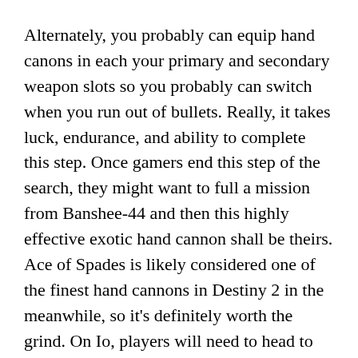Alternately, you probably can equip hand canons in each your primary and secondary weapon slots so you probably can switch when you run out of bullets. Really, it takes luck, endurance, and ability to complete this step. Once gamers end this step of the search, they might want to full a mission from Banshee-44 and then this highly effective exotic hand cannon shall be theirs. Ace of Spades is likely considered one of the finest hand cannons in Destiny 2 in the meanwhile, so it's definitely worth the grind. On Io, players will need to head to the Wraith Mines and enter the cavern with the enormous drill. Players will want to climb up the room till they practically attain the top.
Amanda Holliday looks at something on her work bench. When gamers spawn in on the Exodus Black, head right and drop into the subterranean cavern which